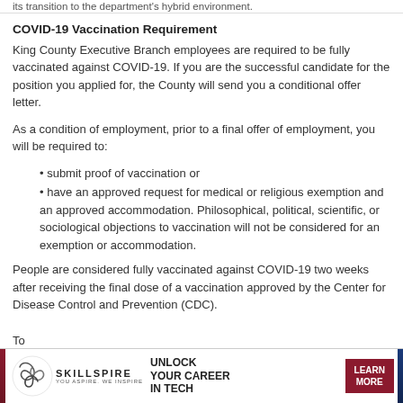its transition to the department's hybrid environment.
COVID-19 Vaccination Requirement
King County Executive Branch employees are required to be fully vaccinated against COVID-19. If you are the successful candidate for the position you applied for, the County will send you a conditional offer letter.
As a condition of employment, prior to a final offer of employment, you will be required to:
submit proof of vaccination or
have an approved request for medical or religious exemption and an approved accommodation. Philosophical, political, scientific, or sociological objections to vaccination will not be considered for an exemption or accommodation.
People are considered fully vaccinated against COVID-19 two weeks after receiving the final dose of a vaccination approved by the Center for Disease Control and Prevention (CDC).
To
[Figure (infographic): Skillspire advertisement banner: logo with spiral graphic, text 'SKILLSPIRE YOU ASPIRE. WE INSPIRE', 'UNLOCK YOUR CAREER IN TECH', and 'LEARN MORE' button in dark red.]